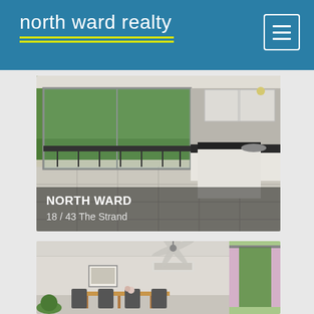north ward realty
[Figure (photo): Interior photo of an apartment showing open-plan kitchen with dark benchtop and view through sliding glass doors to a balcony with trees beyond. Overlay text: NORTH WARD, 18 / 43 The Strand]
[Figure (photo): Interior photo of a light-filled room with ceiling fan, dining table and chairs, wall-mounted air conditioner, curtains, and window with garden view beyond]